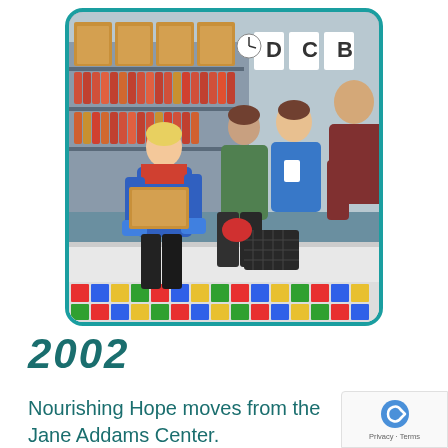[Figure (photo): People working at a food pantry/food bank. A woman in a blue sweater and red top carries cardboard boxes with blue gloves. A volunteer in a blue shirt with a badge smiles. Another person in a dark red shirt works at a counter. Shelves of canned goods and cardboard boxes visible in background. Signs labeled D, C, B visible. Colorful tiled counter in foreground.]
2002
Nourishing Hope moves from the Jane Addams Center.